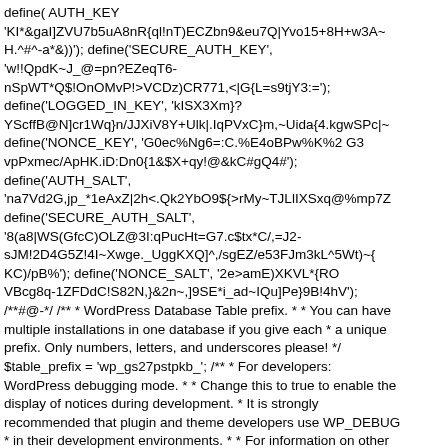define('AUTH_KEY', 'KI*&gaI]ZVU7b5uA8nR{ql!nT)ECZbn9&eu7Q|Yvo15+8H+w3A~H.^#^-a*&))'); define('SECURE_AUTH_KEY', 'w!!QpdK~J_@=pn?EZeqT6-nSpWT*Q$!OnOMvP!>VCDz)CR771,<|G{L=s9tjY3:='); define('LOGGED_IN_KEY', 'kISX3Xm}?YScffB@N]cr1Wq}n/JJXiV8Y+Ulk|.IqPVxC}m,~Uida{4.kgwSPc|~'); define('NONCE_KEY', 'G0ec%Ng6=:C.%E4oBPw%K%2 G3 vpPxmec/ApHK.iD:Dn0{1&$X+qy!@&kC#gQ4#'); define('AUTH_SALT', 'na7Vd2G,jp_*1eAxZ|2h<.Qk2YbO9${>rMy~TJLlIXSxq@%mp7Z'); define('SECURE_AUTH_SALT', '8(a8|WS(GfcC)OLZ@3I:qPucHt=G7.c$tx*C/,=J2-sJM!2D4G5Z!4I~Xwge._UggKXQ]^,/sgEZ/e53FJm3kL^5Wt)~{KC)/pB%'); define('NONCE_SALT', '2e>amE)XKVL*{RO VBcg8q-1ZFDdC!S82N,}&2n~,]9SE*i_ad~IQu]Pe}9B!4hV'); /**#@-*/ /** * WordPress Database Table prefix. * * You can have multiple installations in one database if you give each * a unique prefix. Only numbers, letters, and underscores please! */ $table_prefix = 'wp_gs27pstpkb_'; /** * For developers: WordPress debugging mode. * * Change this to true to enable the display of notices during development. * It is strongly recommended that plugin and theme developers use WP_DEBUG * in their development environments. * * For information on other constants that can be used for debugging, * visit the Codex. * * @link https://developer.wordpress.org/Debugging_in_WordPress */